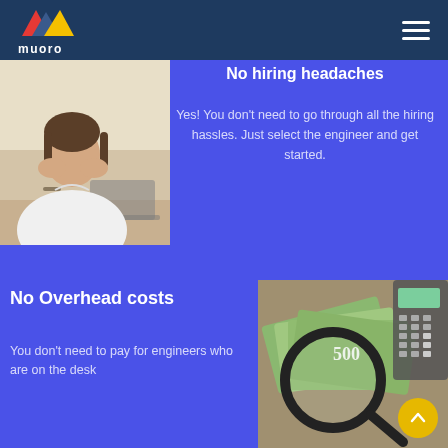[Figure (logo): Muoro logo with red, blue, and yellow triangles forming an M shape, with 'muoro' text below, on dark navy background header with hamburger menu icon]
[Figure (photo): Woman in white shirt holding her head in her hands, stressed, sitting at a desk with a laptop]
No hiring headaches
Yes! You don't need to go through all the hiring hassles. Just select the engineer and get started.
No Overhead costs
You don't need to pay for engineers who are on the desk
[Figure (photo): Euro banknotes fanned out with a magnifying glass and a calculator, representing overhead costs]